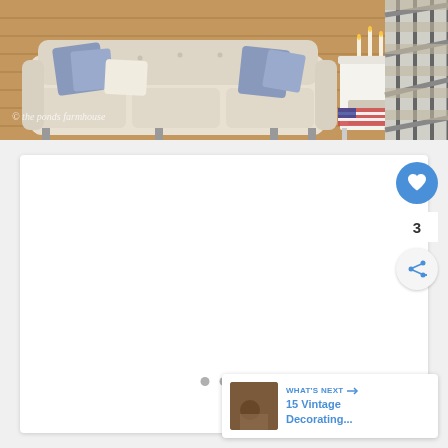[Figure (photo): Overhead view of a farmhouse-style living room with a cream tufted sofa, blue and white decorative pillows, hardwood floors, a white side table with candles and decorations, and industrial metal staircase railing on the right. Watermark reads: © the ponds farmhouse]
[Figure (screenshot): White content card area with carousel pagination dots (three grey circles) at the bottom center. A blue circular heart/like button on the right side showing count of 3, and a grey circular share button below it. A 'WHAT'S NEXT' panel in the bottom right shows a thumbnail and text '15 Vintage Decorating...']